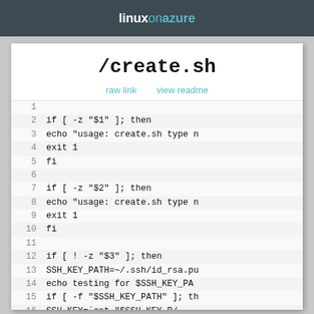linuxonazure
/create.sh
raw link   view readme
1
2  if [ -z "$1" ]; then
3      echo "usage: create.sh type n
4      exit 1
5  fi
6
7  if [ -z "$2" ]; then
8      echo "usage: create.sh type n
9      exit 1
10 fi
11
12 if [ ! -z "$3" ]; then
13     SSH_KEY_PATH=~/.ssh/id_rsa.pu
14     echo testing for $SSH_KEY_PA
15     if [ -f "$SSH_KEY_PATH" ]; th
16         SSH_KEY=`cat "$SSH_KEY_P/
17         USERNAME=$3
18 fi